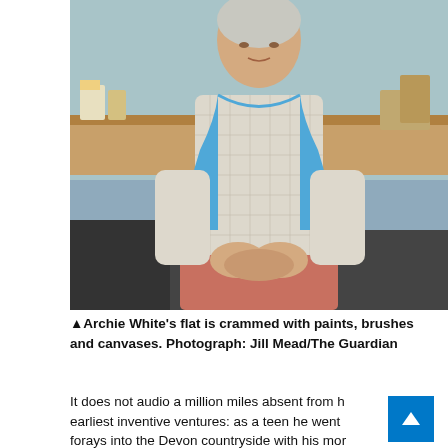[Figure (photo): An elderly man seated, wearing a blue sleeveless vest over a checked shirt and salmon/pink trousers, hands clasped in his lap. The room behind him has wooden surfaces and art supplies visible. The photo is credited to Jill Mead/The Guardian.]
▲Archie White's flat is crammed with paints, brushes and canvases. Photograph: Jill Mead/The Guardian
It does not audio a million miles absent from his earliest inventive ventures: as a teen he went on forays into the Devon countryside with his more